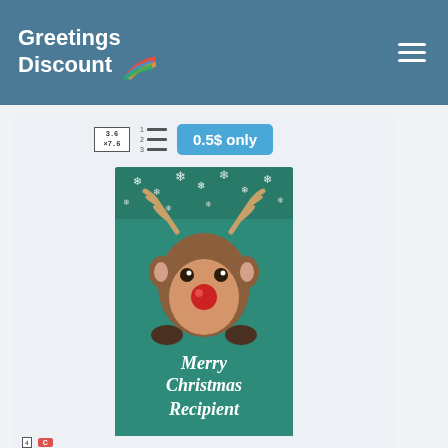Greetings Discount
[Figure (screenshot): Website screenshot showing Greetings Discount logo with colorful sail/flag icon on teal/steel-blue header with hamburger menu icon, toolbar with grid view icon, list view icon, and '0.5$ only' blue button, a Christmas greeting card showing Rudolph the reindeer with 'Merry Christmas Recipient' and 'Signature' text on teal background with snowflakes, and a 'Christmas Greeting Cards' label bar below]
Christmas Greeting Cards